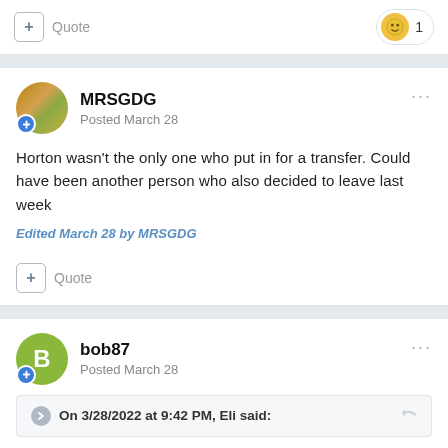+ Quote
1
MRSGDG
Posted March 28
Horton wasn't the only one who put in for a transfer. Could have been another person who also decided to leave last week
Edited March 28 by MRSGDG
+ Quote
bob87
Posted March 28
On 3/28/2022 at 9:42 PM, Eli said: